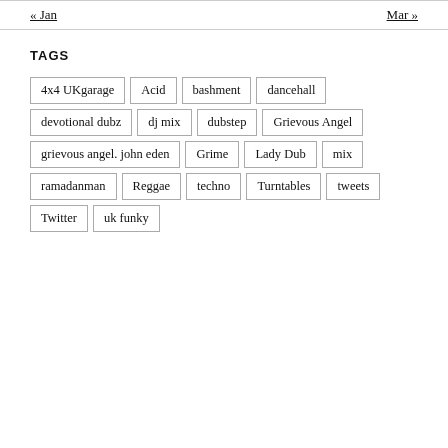« Jan   Mar »
TAGS
4x4 UKgarage
Acid
bashment
dancehall
devotional dubz
dj mix
dubstep
Grievous Angel
grievous angel. john eden
Grime
Lady Dub
mix
ramadanman
Reggae
techno
Turntables
tweets
Twitter
uk funky